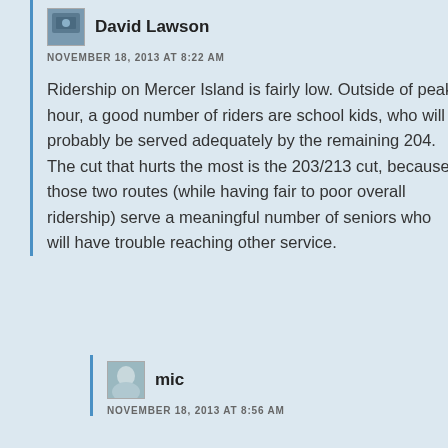David Lawson
NOVEMBER 18, 2013 AT 8:22 AM
Ridership on Mercer Island is fairly low. Outside of peak hour, a good number of riders are school kids, who will probably be served adequately by the remaining 204. The cut that hurts the most is the 203/213 cut, because those two routes (while having fair to poor overall ridership) serve a meaningful number of seniors who will have trouble reaching other service.
mic
NOVEMBER 18, 2013 AT 8:56 AM